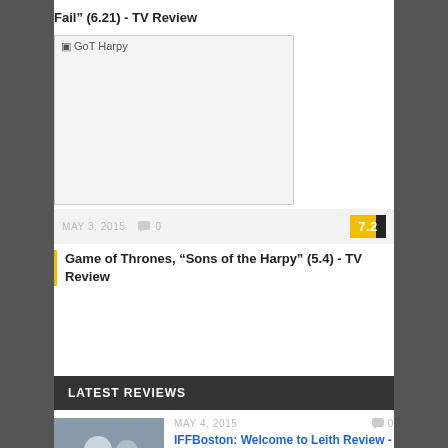Fail" (6.21) - TV Review
[Figure (photo): GoT Harpy image placeholder]
MAY 3, 2015  0  7.2
Game of Thrones, “Sons of the Harpy” (5.4) - TV Review
LATEST REVIEWS
MAY 4, 2015  0
IFFBoston: Welcome to Leith Review -